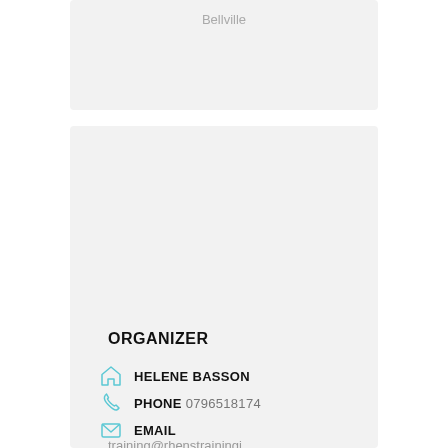Bellville
ORGANIZER
HELENE BASSON
PHONE 0796518174
EMAIL
training@rhenstrainingi